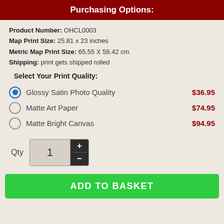Purchasing Options:
Product Number: OHCL0003
Map Print Size: 25.81 x 23 inches
Metric Map Print Size: 65.55 X 58.42 cm
Shipping: print gets shipped rolled
Select Your Print Quality:
Glossy Satin Photo Quality $36.95
Matte Art Paper $74.95
Matte Bright Canvas $94.95
Qty 1
ADD TO BASKET